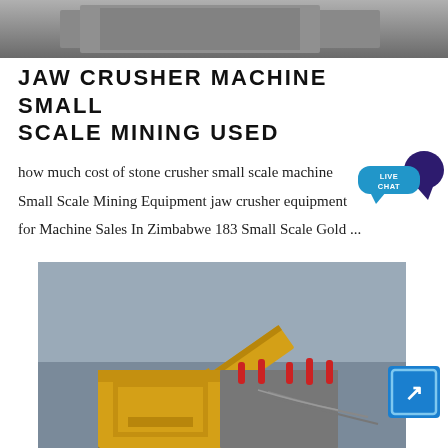[Figure (photo): Top banner photo of mining/industrial machinery - grey sky background]
JAW CRUSHER MACHINE SMALL SCALE MINING USED
how much cost of stone crusher small scale machine Small Scale Mining Equipment jaw crusher equipment for Machine Sales In Zimbabwe 183 Small Scale Gold ...
[Figure (photo): Close-up photograph of a yellow jaw crusher machine with conveyor belt arm extended upward against a grey sky. Red pins visible on machine body.]